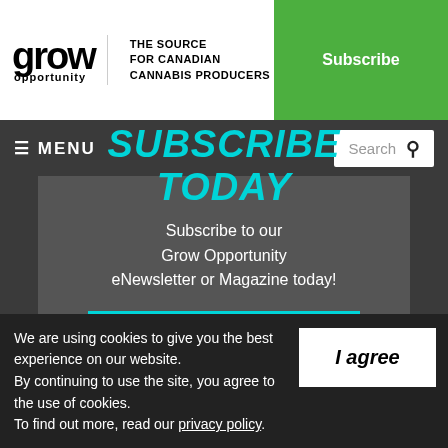grow opportunity — THE SOURCE FOR CANADIAN CANNABIS PRODUCERS
Subscribe
≡ MENU | Search
SUBSCRIBE TODAY
Subscribe to our Grow Opportunity eNewsletter or Magazine today!
SUBSCRIBE
We are using cookies to give you the best experience on our website. By continuing to use the site, you agree to the use of cookies. To find out more, read our privacy policy.
I agree